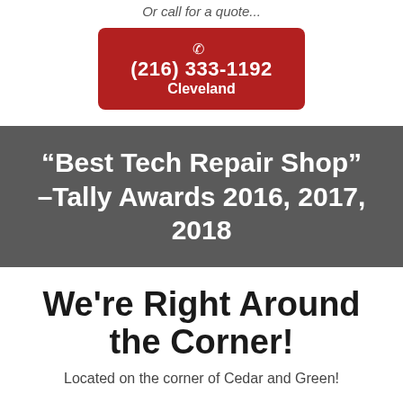Or call for a quote...
(216) 333-1192 Cleveland
“Best Tech Repair Shop” –Tally Awards 2016, 2017, 2018
We're Right Around the Corner!
Located on the corner of Cedar and Green!